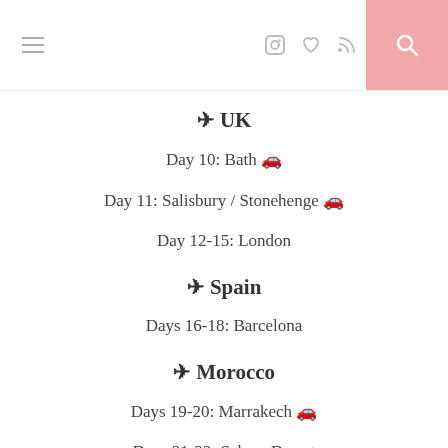Navigation header with hamburger menu, icons, and search
✈ UK
Day 10: Bath 🚗
Day 11: Salisbury / Stonehenge 🚗
Day 12-15: London
✈ Spain
Days 16-18: Barcelona
✈ Morocco
Days 19-20: Marrakech 🚗
Days 21-22: Sahara Desert